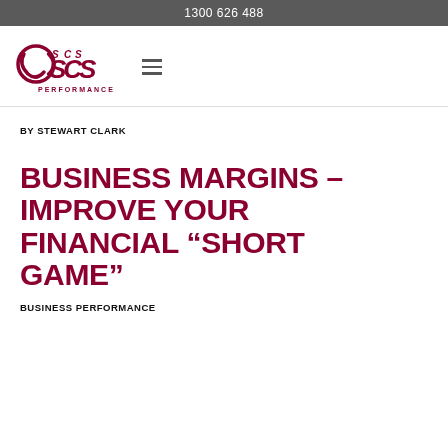1300 626 488
[Figure (logo): SCS Performance logo with stylized SCS lettering and circular swirl icon in dark red/crimson, with PERFORMANCE text below]
BY STEWART CLARK
BUSINESS MARGINS – IMPROVE YOUR FINANCIAL “SHORT GAME”
BUSINESS PERFORMANCE